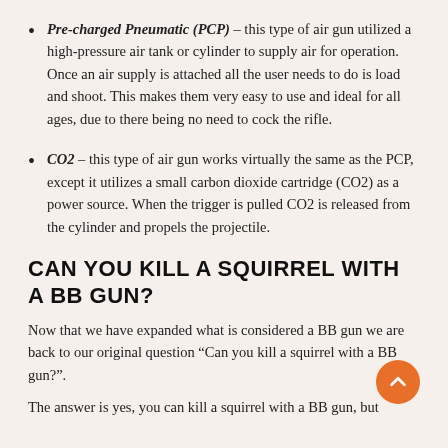Pre-charged Pneumatic (PCP) – this type of air gun utilized a high-pressure air tank or cylinder to supply air for operation. Once an air supply is attached all the user needs to do is load and shoot. This makes them very easy to use and ideal for all ages, due to there being no need to cock the rifle.
CO2 – this type of air gun works virtually the same as the PCP, except it utilizes a small carbon dioxide cartridge (CO2) as a power source. When the trigger is pulled CO2 is released from the cylinder and propels the projectile.
CAN YOU KILL A SQUIRREL WITH A BB GUN?
Now that we have expanded what is considered a BB gun we are back to our original question “Can you kill a squirrel with a BB gun?”.
The answer is yes, you can kill a squirrel with a BB gun, but